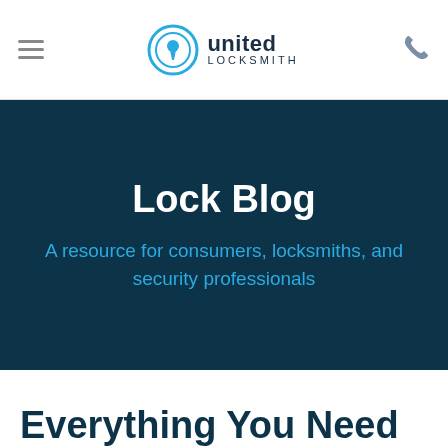United Locksmith — navigation header with hamburger menu and phone icon
Lock Blog
A resource for consumers, locksmiths, and security professionals
Everything You Need